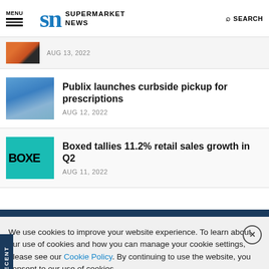MENU | SN SUPERMARKET NEWS | SEARCH
AUG 13, 2022
Publix launches curbside pickup for prescriptions
AUG 12, 2022
Boxed tallies 11.2% retail sales growth in Q2
AUG 11, 2022
We use cookies to improve your website experience. To learn about our use of cookies and how you can manage your cookie settings, please see our Cookie Policy. By continuing to use the website, you consent to our use of cookies.